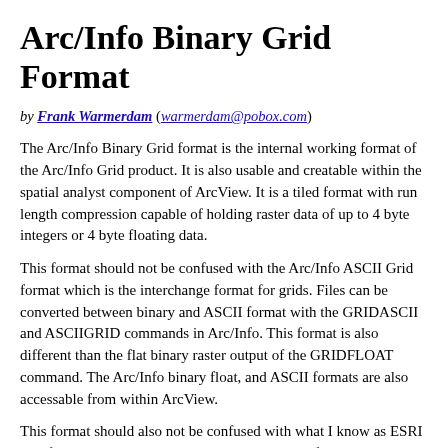Arc/Info Binary Grid Format
by Frank Warmerdam (warmerdam@pobox.com)
The Arc/Info Binary Grid format is the internal working format of the Arc/Info Grid product. It is also usable and creatable within the spatial analyst component of ArcView. It is a tiled format with run length compression capable of holding raster data of up to 4 byte integers or 4 byte floating data.
This format should not be confused with the Arc/Info ASCII Grid format which is the interchange format for grids. Files can be converted between binary and ASCII format with the GRIDASCII and ASCIIGRID commands in Arc/Info. This format is also different than the flat binary raster output of the GRIDFLOAT command. The Arc/Info binary float, and ASCII formats are also accessable from within ArcView.
This format should also not be confused with what I know as ESRI BIL format. This is really a standard ESRI way of creating a header file (.HDR) describing the data layout a binary raster file containing raster data.
Header